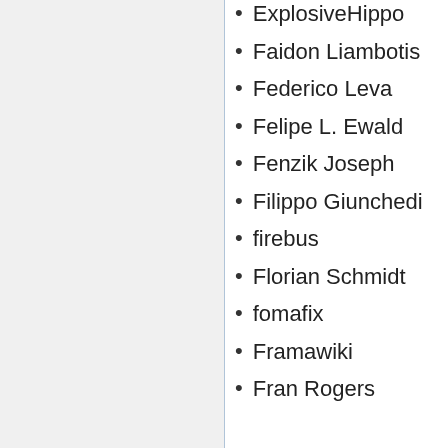ExplosiveHippo
Faidon Liambotis
Federico Leva
Felipe L. Ewald
Fenzik Joseph
Filippo Giunchedi
firebus
Florian Schmidt
fomafix
Framawiki
Fran Rogers